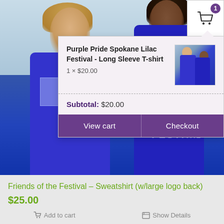[Figure (photo): Two people wearing blue long-sleeve sweatshirts outdoors, one facing forward smiling, one facing away showing back with LILAC FESTIVAL text]
[Figure (screenshot): Shopping cart popup showing Purple Pride Spokane Lilac Festival Long Sleeve T-shirt, 1 × $20.00, Subtotal: $20.00, with View cart and Checkout buttons]
Purple Pride Spokane Lilac Festival - Long Sleeve T-shirt
1 × $20.00
Subtotal: $20.00
View cart
Checkout
Friends of the Festival – Sweatshirt (w/large logo back)
$25.00
Add to cart
Show Details